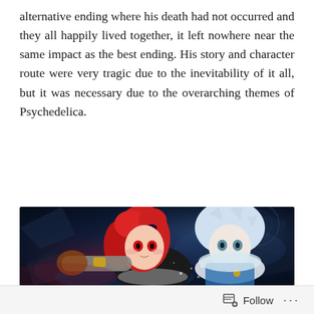alternative ending where his death had not occurred and they all happily lived together, it left nowhere near the same impact as the best ending. His story and character route were very tragic due to the inevitability of it all, but it was necessary due to the overarching themes of Psychedelica.
[Figure (illustration): Anime illustration showing two characters: a girl with red hair and red eyes wearing a dark jacket with fur trim, and a boy with white/silver spiky hair wearing a white fur-trimmed outfit with blue accents. They appear to be in a dramatic scene with a dark blue fantasy background.]
Follow ···